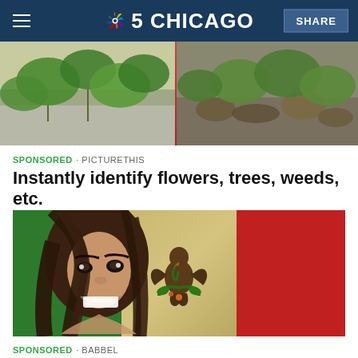NBC 5 CHICAGO | SHARE
[Figure (photo): Split image showing two plant/weed photos side by side with a red vertical divider line]
SPONSORED · PICTURETHIS
Instantly identify flowers, trees, weeds, etc.
[Figure (photo): Advertisement image showing a smiling woman with flowing hair overlaid on the Mexican flag (green, white with eagle emblem, red)]
SPONSORED · BABBEL